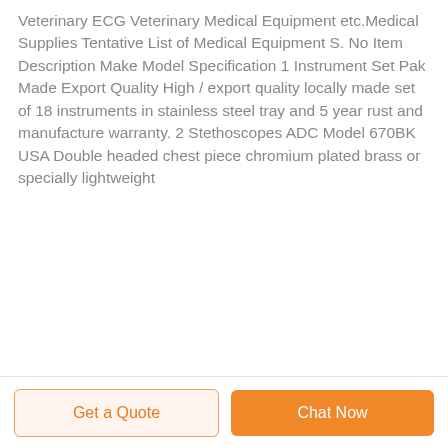Veterinary ECG Veterinary Medical Equipment etc.Medical Supplies Tentative List of Medical Equipment S. No Item Description Make Model Specification 1 Instrument Set Pak Made Export Quality High / export quality locally made set of 18 instruments in stainless steel tray and 5 year rust and manufacture warranty. 2 Stethoscopes ADC Model 670BK USA Double headed chest piece chromium plated brass or specially lightweight
Get a Quote | Chat Now